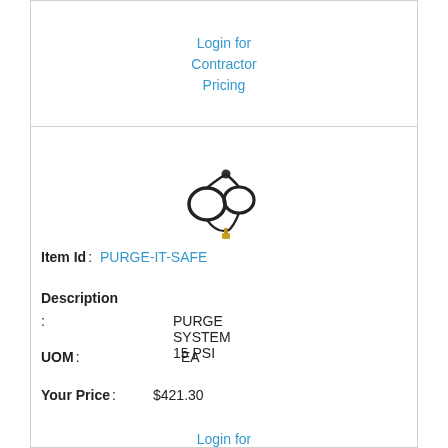Login for Contractor Pricing
[Figure (photo): Product photo: purge system with two coiled hoses/loops and a connector fitting, shown against white background]
Item Id : PURGE-IT-SAFE
Description
: PURGE SYSTEM 15 PSI
UOM : EA
Your Price : $421.30
Login for Contractor Pricing